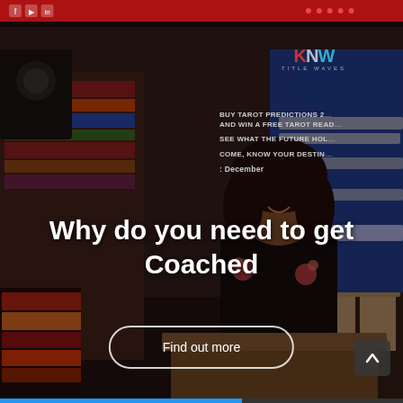[Figure (photo): A woman standing at a podium/table in a bookstore (Title Waves), smiling, wearing a black top with floral embroidery. Behind her is a blue promotional banner for Tarot Predictions with text about buying tarot predictions and winning a free tarot reading. Bookshelves and stacked books are visible on the left.]
Why do you need to get Coached
Find out more